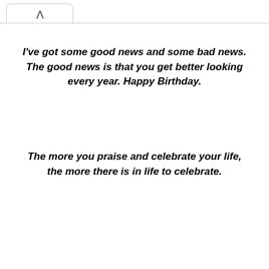I've got some good news and some bad news. The good news is that you get better looking every year. Happy Birthday.
The more you praise and celebrate your life, the more there is in life to celebrate.